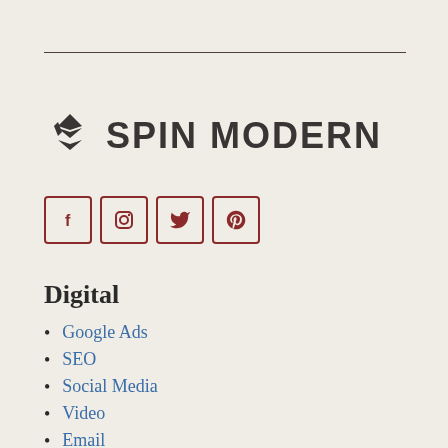[Figure (logo): Spin Modern logo with geometric diamond-shaped icon and bold uppercase text 'SPIN MODERN']
[Figure (infographic): Four social media icon buttons in rounded square borders: Facebook (f), Instagram (camera), Twitter (bird), Pinterest (p) — all in dark red/maroon color]
Digital
Google Ads
SEO
Social Media
Video
Email